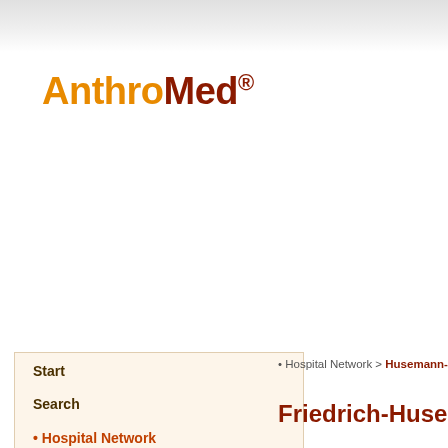[Figure (logo): AnthroMed logo with 'Anthro' in orange and 'Med' in dark red with registered trademark symbol]
Start
Search
• Hospital Network
• Hospital Network > Husemann-Kli…
Friedrich-Husemann-K…